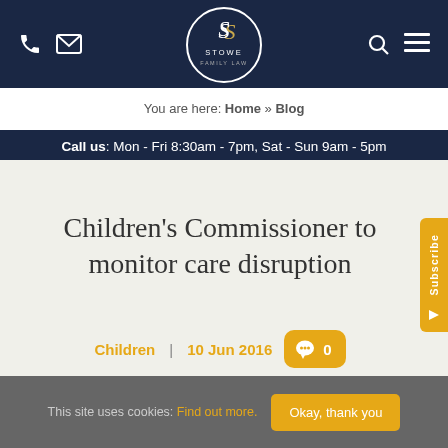[Figure (logo): Stowe Family Law logo — dark navy circle with stylized S and text STOWE FAMILY LAW]
Navigation bar with phone, email icons on left; search and menu icons on right; Stowe Family Law logo centered
You are here: Home » Blog
Call us: Mon - Fri 8:30am - 7pm, Sat - Sun 9am - 5pm
Children's Commissioner to monitor care disruption
Children  |  10 Jun 2016  0
This site uses cookies: Find out more.  Okay, thank you